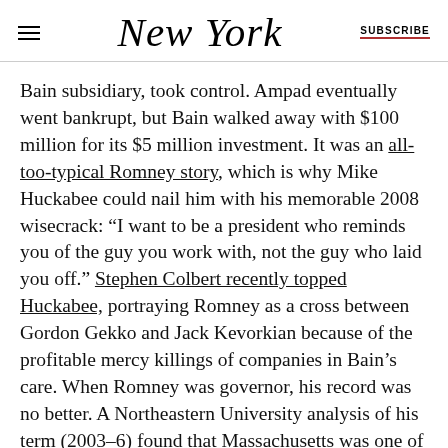NEW YORK | SUBSCRIBE
Bain subsidiary, took control. Ampad eventually went bankrupt, but Bain walked away with $100 million for its $5 million investment. It was an all-too-typical Romney story, which is why Mike Huckabee could nail him with his memorable 2008 wisecrack: “I want to be a president who reminds you of the guy you work with, not the guy who laid you off.” Stephen Colbert recently topped Huckabee, portraying Romney as a cross between Gordon Gekko and Jack Kevorkian because of the profitable mercy killings of companies in Bain’s care. When Romney was governor, his record was no better. A Northeastern University analysis of his term (2003–6) found that Massachusetts was one of only two